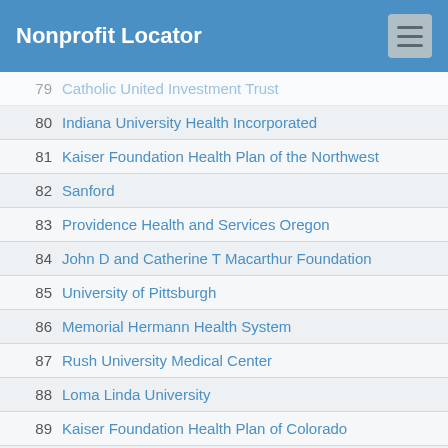Nonprofit Locator
79 Catholic United Investment Trust
80 Indiana University Health Incorporated
81 Kaiser Foundation Health Plan of the Northwest
82 Sanford
83 Providence Health and Services Oregon
84 John D and Catherine T Macarthur Foundation
85 University of Pittsburgh
86 Memorial Hermann Health System
87 Rush University Medical Center
88 Loma Linda University
89 Kaiser Foundation Health Plan of Colorado
90 Baptist Health of South Florida Incorporated
91 Government Employees Health Association Incorporated